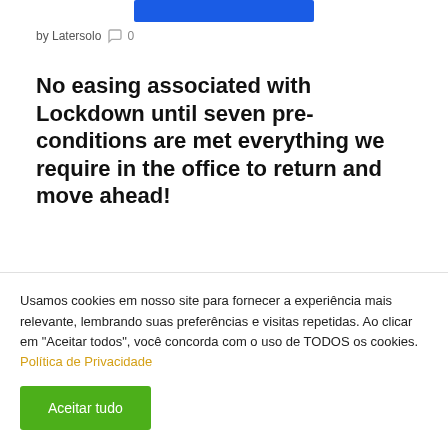[Figure (other): Blue button/bar at top center of page]
by Latersolo  💬 0
No easing associated with Lockdown until seven pre-conditions are met everything we require in the office to return and move ahead!
There isn't any conflict between financial data recovery and wellness because a healthier recovery that is economic
Usamos cookies em nosso site para fornecer a experiência mais relevante, lembrando suas preferências e visitas repetidas. Ao clicar em "Aceitar todos", você concorda com o uso de TODOS os cookies. Política de Privacidade
Aceitar tudo